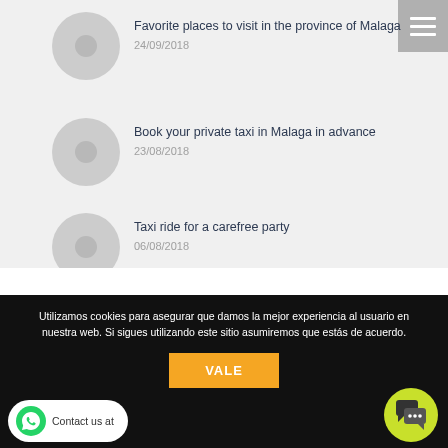Favorite places to visit in the province of Malaga
24/09/2018
Book your private taxi in Malaga in advance
23/08/2018
Taxi ride for a carefree party
06/08/2018
Utilizamos cookies para asegurar que damos la mejor experiencia al usuario en nuestra web. Si sigues utilizando este sitio asumiremos que estás de acuerdo.
VALE
Contact us at